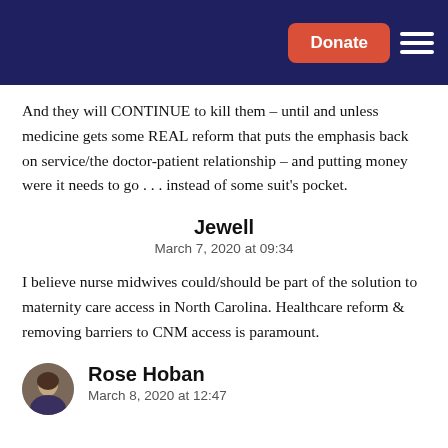Donate
And they will CONTINUE to kill them – until and unless medicine gets some REAL reform that puts the emphasis back on service/the doctor-patient relationship – and putting money were it needs to go . . . instead of some suit's pocket.
Jewell
March 7, 2020 at 09:34
I believe nurse midwives could/should be part of the solution to maternity care access in North Carolina. Healthcare reform & removing barriers to CNM access is paramount.
Rose Hoban
March 8, 2020 at 12:47